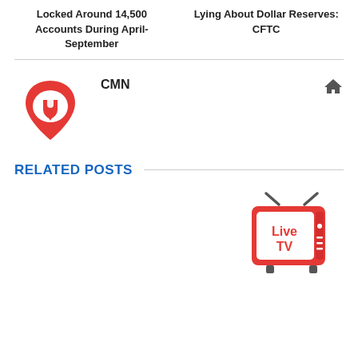Locked Around 14,500 Accounts During April-September
Lying About Dollar Reserves: CFTC
CMN
RELATED POSTS
[Figure (logo): Live TV logo - red retro TV with antenna, showing 'Live TV' text in red and white]